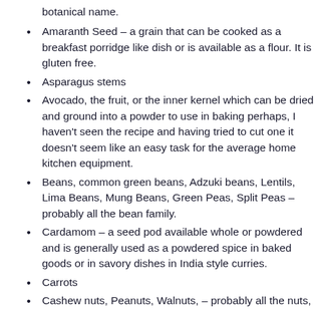botanical name.
Amaranth Seed – a grain that can be cooked as a breakfast porridge like dish or is available as a flour. It is gluten free.
Asparagus stems
Avocado, the fruit, or the inner kernel which can be dried and ground into a powder to use in baking perhaps, I haven't seen the recipe and having tried to cut one it doesn't seem like an easy task for the average home kitchen equipment.
Beans, common green beans, Adzuki beans, Lentils, Lima Beans, Mung Beans, Green Peas, Split Peas – probably all the bean family.
Cardamom – a seed pod available whole or powdered and is generally used as a powdered spice in baked goods or in savory dishes in India style curries.
Carrots
Cashew nuts, Peanuts, Walnuts, – probably all the nuts,